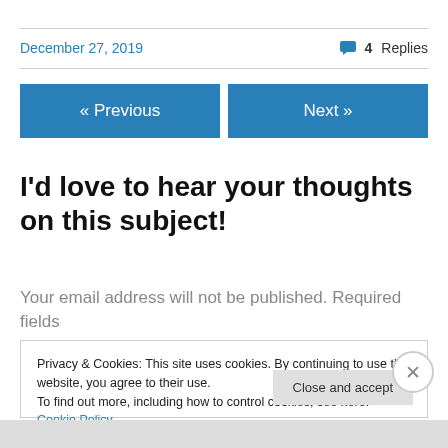December 27, 2019
💬 4 Replies
« Previous
Next »
I'd love to hear your thoughts on this subject!
Your email address will not be published. Required fields
Privacy & Cookies: This site uses cookies. By continuing to use this website, you agree to their use.
To find out more, including how to control cookies, see here: Cookie Policy
Close and accept